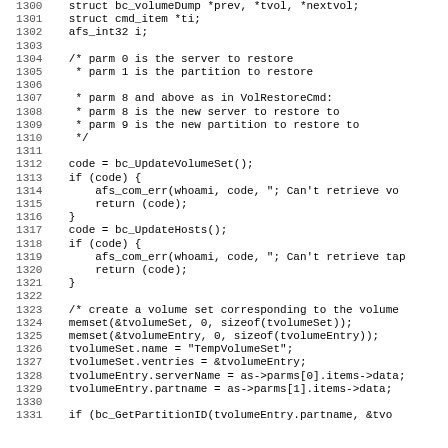[Figure (other): Source code listing in C, lines 1300-1331, showing function body with struct declarations, comments, and code for bc_UpdateVolumeSet, bc_UpdateHosts, memset, and related operations.]